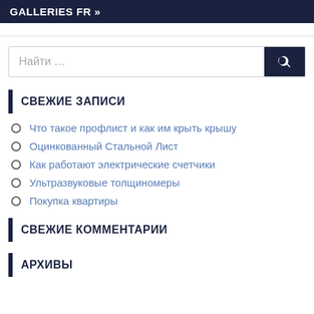GALLERIES FR »
СВЕЖИЕ ЗАПИСИ
Что такое профлист и как им крыть крышу
Оцинкованный Стальной Лист
Как работают электрические счетчики
Ультразвуковые толщиномеры
Покупка квартиры
СВЕЖИЕ КОММЕНТАРИИ
АРХИВЫ